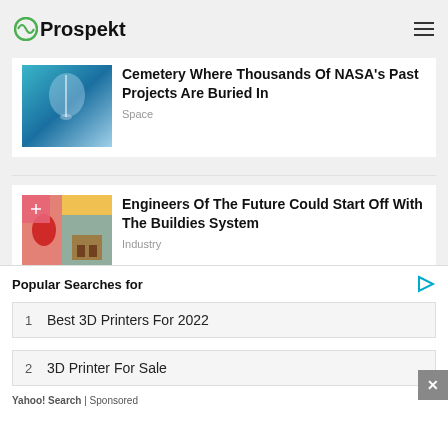Prospekt
[Figure (screenshot): Thumbnail for NASA cemetery article - teal/blue tones suggesting underwater or space scene]
Cemetery Where Thousands Of NASA's Past Projects Are Buried In
Space
[Figure (photo): Thumbnail for Buildies article - colorful image with red figure and craft supplies, pink badge with icon]
Engineers Of The Future Could Start Off With The Buildies System
Industry
[Figure (photo): Thumbnail for guitars article - dark image of guitars, pink badge with icon]
They Don't Make Them Like They Used To….Well Now
Popular Searches for
1   Best 3D Printers For 2022
2   3D Printer For Sale
Yahoo! Search | Sponsored